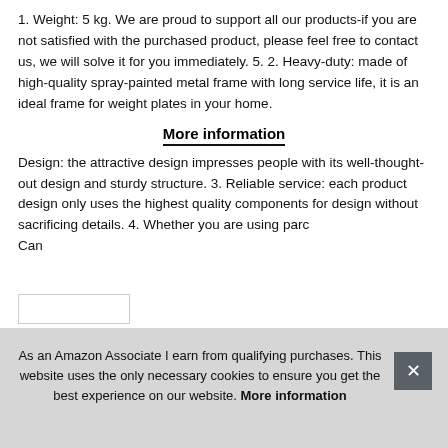1. Weight: 5 kg. We are proud to support all our products-if you are not satisfied with the purchased product, please feel free to contact us, we will solve it for you immediately. 5. 2. Heavy-duty: made of high-quality spray-painted metal frame with long service life, it is an ideal frame for weight plates in your home.
More information
Design: the attractive design impresses people with its well-thought-out design and sturdy structure. 3. Reliable service: each product design only uses the highest quality components for design without sacrificing details. 4. Whether you are using parc… Can…
As an Amazon Associate I earn from qualifying purchases. This website uses the only necessary cookies to ensure you get the best experience on our website. More information